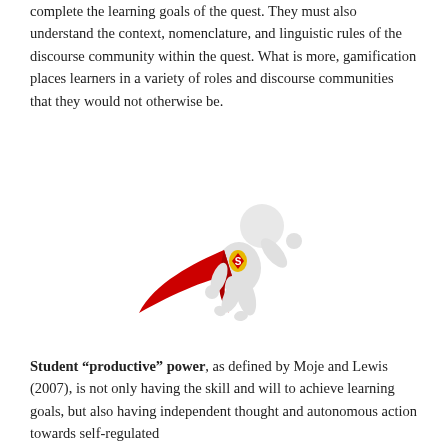complete the learning goals of the quest. They must also understand the context, nomenclature, and linguistic rules of the discourse community within the quest. What is more, gamification places learners in a variety of roles and discourse communities that they would not otherwise be.
[Figure (illustration): A white 3D cartoon figure wearing a red Superman cape and Superman logo on chest, posed in a flying superhero position]
Student "productive" power, as defined by Moje and Lewis (2007), is not only having the skill and will to achieve learning goals, but also having independent thought and autonomous action towards self-regulated